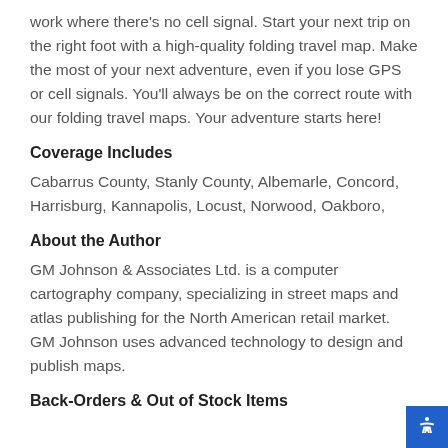work where there's no cell signal. Start your next trip on the right foot with a high-quality folding travel map. Make the most of your next adventure, even if you lose GPS or cell signals. You'll always be on the correct route with our folding travel maps. Your adventure starts here!
Coverage Includes
Cabarrus County, Stanly County, Albemarle, Concord, Harrisburg, Kannapolis, Locust, Norwood, Oakboro,
About the Author
GM Johnson & Associates Ltd. is a computer cartography company, specializing in street maps and atlas publishing for the North American retail market. GM Johnson uses advanced technology to design and publish maps.
Back-Orders & Out of Stock Items